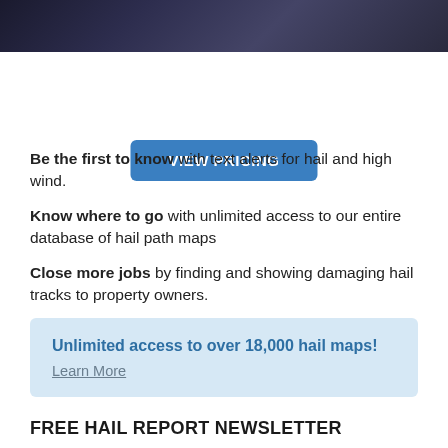[Figure (photo): Dark background image, partial view at top of page]
VIEW PRICING
Be the first to know with text alerts for hail and high wind. Know where to go with unlimited access to our entire database of hail path maps Close more jobs by finding and showing damaging hail tracks to property owners.
Unlimited access to over 18,000 hail maps! Learn More
FREE HAIL REPORT NEWSLETTER